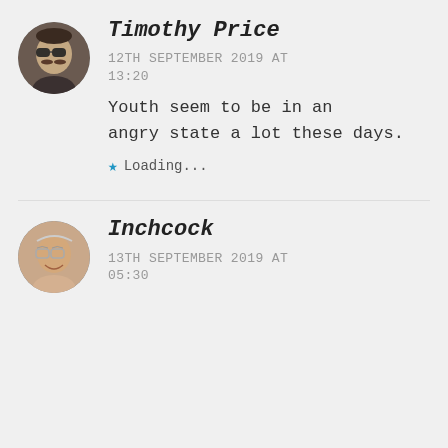[Figure (photo): Circular avatar photo of Timothy Price, a man wearing sunglasses]
Timothy Price
12TH SEPTEMBER 2019 AT 13:20
Youth seem to be in an angry state a lot these days.
★ Loading...
[Figure (photo): Circular avatar photo of Inchcock, an elderly man with glasses]
Inchcock
13TH SEPTEMBER 2019 AT 05:30